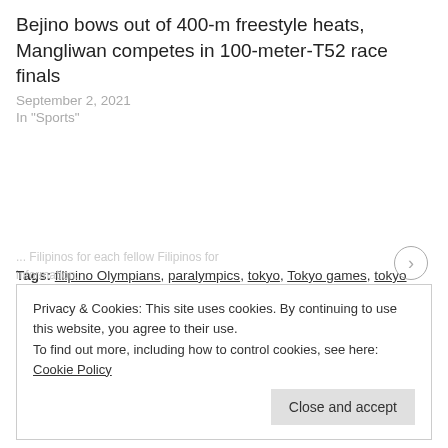Bejino bows out of 400-m freestyle heats, Mangliwan competes in 100-meter-T52 race finals
September 2, 2021
In "Sports"
Tags: filipino Olympians, paralympics, tokyo, Tokyo games, tokyo olympics, Tokyo paralympics. Bookmark the permalink.
Privacy & Cookies: This site uses cookies. By continuing to use this website, you agree to their use. To find out more, including how to control cookies, see here: Cookie Policy